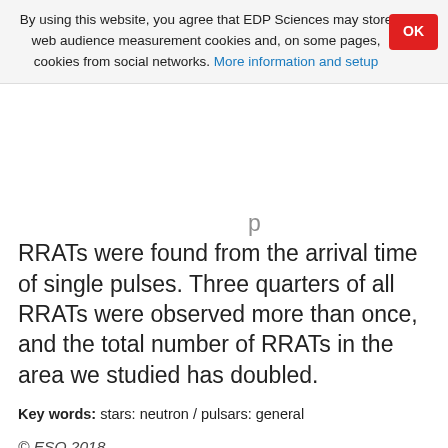By using this website, you agree that EDP Sciences may store web audience measurement cookies and, on some pages, cookies from social networks. More information and setup
RRATs were found from the arrival time of single pulses. Three quarters of all RRATs were observed more than once, and the total number of RRATs in the area we studied has doubled.
Key words: stars: neutron / pulsars: general
© ESO 2018
1. Introduction
The dete...